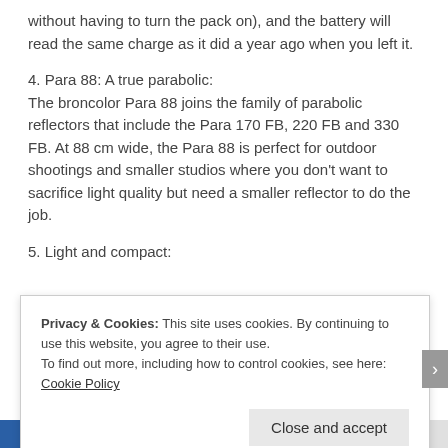without having to turn the pack on), and the battery will read the same charge as it did a year ago when you left it.
4. Para 88: A true parabolic:
The broncolor Para 88 joins the family of parabolic reflectors that include the Para 170 FB, 220 FB and 330 FB. At 88 cm wide, the Para 88 is perfect for outdoor shootings and smaller studios where you don't want to sacrifice light quality but need a smaller reflector to do the job.
5. Light and compact:
Privacy & Cookies: This site uses cookies. By continuing to use this website, you agree to their use.
To find out more, including how to control cookies, see here: Cookie Policy
Close and accept